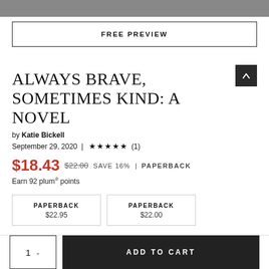[Figure (photo): Top portion of a book cover image, dark/muted tones, partially cropped]
FREE PREVIEW
ALWAYS BRAVE, SOMETIMES KIND: A NOVEL
by Katie Bickell
September 29, 2020 | ★★★★★ (1)
$18.43 $22.00 SAVE 16% | PAPERBACK
Earn 92 plum® points
| PAPERBACK
$22.95 | PAPERBACK
$22.00 |
1  ADD TO CART